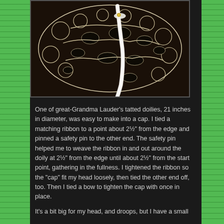[Figure (photo): A close-up photograph of a tatted lace doily with intricate white/cream crochet patterns and a white satin ribbon woven through it, displayed on a dark background.]
One of great-Grandma Lauder's tatted doilies, 21 inches in diameter, was easy to make into a cap. I tied a matching ribbon to a point about 2½" from the edge and pinned a safety pin to the other end. The safety pin helped me to weave the ribbon in and out around the doily at 2½" from the edge until about 2½" from the start point, gathering in the fullness. I tightened the ribbon so the "cap" fit my head loosely, then tied the other end off, too. Then I tied a bow to tighten the cap with once in place.
It's a bit big for my head, and droops, but I have a small